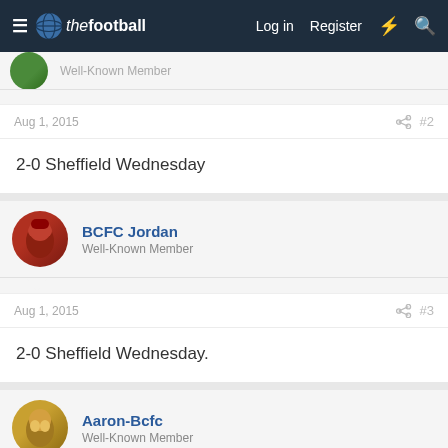thefootball forum — Log in | Register
Well-Known Member (truncated top post)
Aug 1, 2015  #2
2-0 Sheffield Wednesday
BCFC Jordan
Well-Known Member
Aug 1, 2015  #3
2-0 Sheffield Wednesday.
Aaron-Bcfc
Well-Known Member